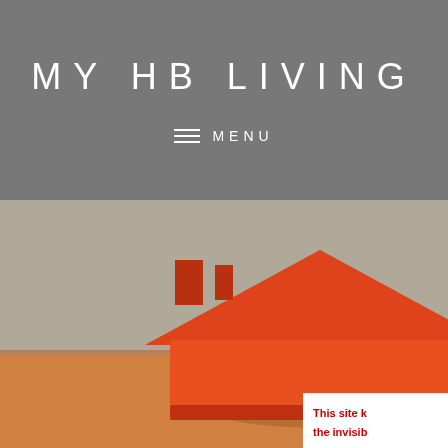MY HB LIVING
≡ MENU
[Figure (photo): A red/orange toy wooden house model sitting on a warm-toned wooden surface, with a blurred background. The house has a chimney and peaked roof shape.]
This site k the invisib